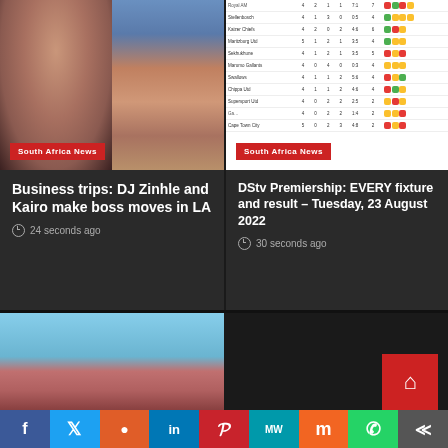[Figure (photo): Two women posing for photo on colorful background]
South Africa News
Business trips: DJ Zinhle and Kairo make boss moves in LA
24 seconds ago
[Figure (table-as-image): DStv Premiership standings table with team results]
South Africa News
DStv Premiership: EVERY fixture and result – Tuesday, 23 August 2022
30 seconds ago
[Figure (photo): Blue sky with partial red element]
f | Twitter | Reddit | in | Pinterest | MW | Mix | WhatsApp | Share